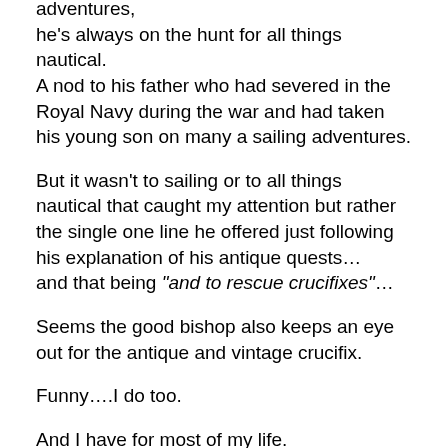adventures,
he's always on the hunt for all things nautical.
A nod to his father who had severed in the Royal Navy during the war and had taken his young son on many a sailing adventures.
But it wasn't to sailing or to all things nautical that caught my attention but rather
the single one line he offered just following his explanation of his antique quests…
and that being “and to rescue crucifixes”…
Seems the good bishop also keeps an eye out for the antique and vintage crucifix.
Funny….I do too.
And I have for most of my life.